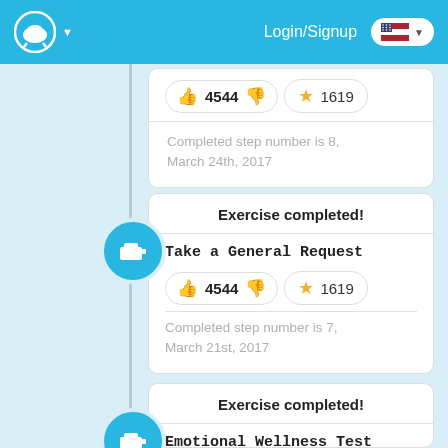Login/Signup
Completed step number is 8, March 24th, 2017
Exercise completed!
Take a General Request
4544
1619
Completed step number is 7, March 21st, 2017
Exercise completed!
Emotional Wellness Test